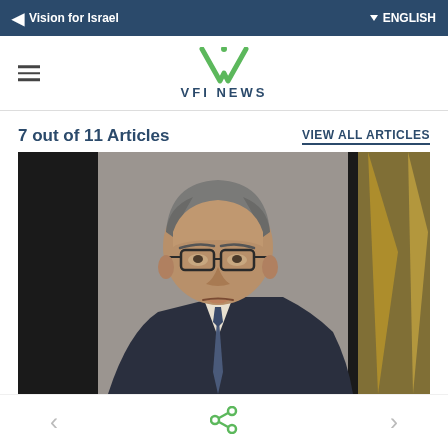Vision for Israel   ENGLISH
[Figure (logo): VFI News logo with green V and leaf design, text VFI NEWS in blue]
7 out of 11 Articles
VIEW ALL ARTICLES
[Figure (photo): Close-up photo of a middle-aged man with glasses and gray hair wearing a dark suit and tie, speaking or presenting, with a golden decorative stand visible in the background]
< share >